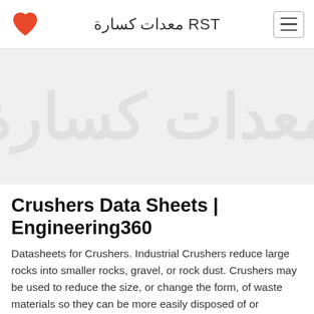RST معدات كسارة
[Figure (illustration): Hero banner area with large faded watermark text showing crusher equipment brand name in light gray on light gray background]
Crushers Data Sheets | Engineering360
Datasheets for Crushers. Industrial Crushers reduce large rocks into smaller rocks, gravel, or rock dust. Crushers may be used to reduce the size, or change the form, of waste materials so they can be more easily disposed of or recycled, or to reduce the size of a solid mix of ra. Crushers: Learn more.